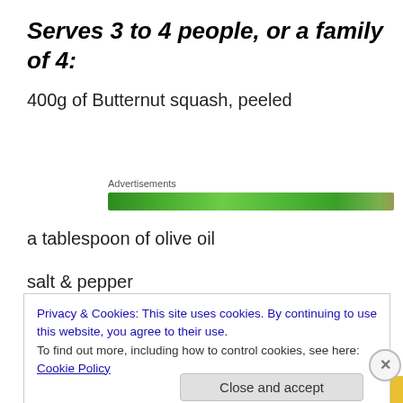Serves 3 to 4 people, or a family of 4:
400g of Butternut squash, peeled
[Figure (other): Green advertisement banner labeled 'Advertisements']
a tablespoon of olive oil
salt & pepper
Privacy & Cookies: This site uses cookies. By continuing to use this website, you agree to their use.
To find out more, including how to control cookies, see here: Cookie Policy
Close and accept
[Figure (other): Bottom advertisement banner with text 'email with more privacy.' and duck icon]